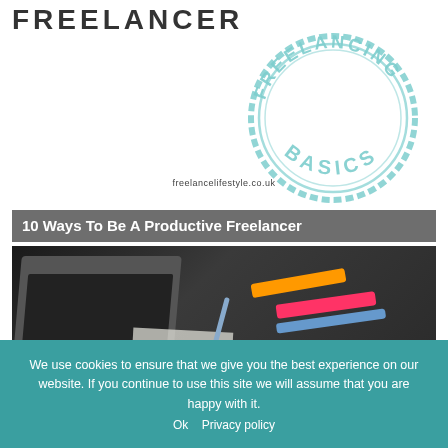FREELANCER
[Figure (illustration): Circular stamp graphic with text 'FREELANCING BASICS' in teal/mint color]
freelancelifestyle.co.uk
[Figure (photo): Article card titled '10 Ways To Be A Productive Freelancer' with photo of desk with laptop, highlighter markers (orange, pink, blue), and papers on dark surface]
We use cookies to ensure that we give you the best experience on our website. If you continue to use this site we will assume that you are happy with it.
Ok   Privacy policy
The Freelancer's Teabreak
an you be quietly ambitious? Featuri